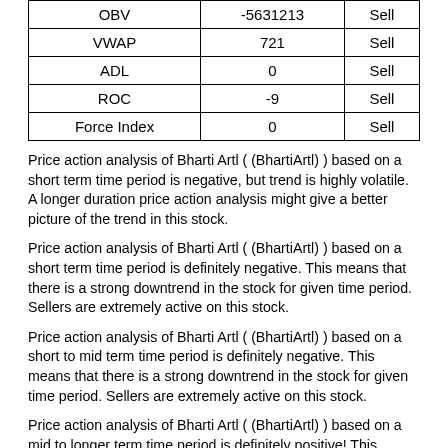|  |  |  |
| --- | --- | --- |
| OBV | -5631213 | Sell |
| VWAP | 721 | Sell |
| ADL | 0 | Sell |
| ROC | -9 | Sell |
| Force Index | 0 | Sell |
Price action analysis of Bharti Artl ( (BhartiArtl) ) based on a short term time period is negative, but trend is highly volatile. A longer duration price action analysis might give a better picture of the trend in this stock.
Price action analysis of Bharti Artl ( (BhartiArtl) ) based on a short term time period is definitely negative. This means that there is a strong downtrend in the stock for given time period. Sellers are extremely active on this stock.
Price action analysis of Bharti Artl ( (BhartiArtl) ) based on a short to mid term time period is definitely negative. This means that there is a strong downtrend in the stock for given time period. Sellers are extremely active on this stock.
Price action analysis of Bharti Artl ( (BhartiArtl) ) based on a mid to longer term time period is definitely positive! This means that there is a strong uptrend in the stock for the given time period. Buyers are extremely bullish on the stock.